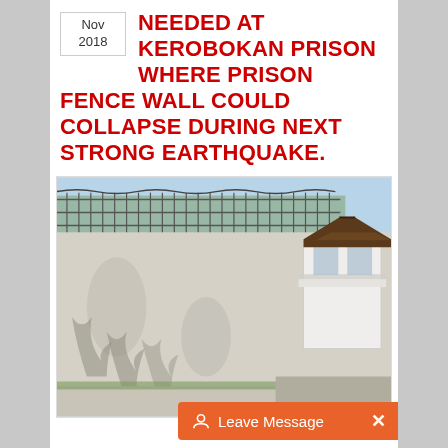Nov
2018
NEEDED AT KEROBOKAN PRISON WHERE PRISON FENCE WALL COULD COLLAPSE DURING NEXT STRONG EARTHQUAKE.
[Figure (photo): Exterior view of Kerobokan Prison showing a long concrete prison wall with a barbed wire fence on top, and a white guard tower with a traditional Balinese-style pagoda roof on the right side. Shadows of plants are visible on the wall. A road runs alongside the wall.]
Leave Message